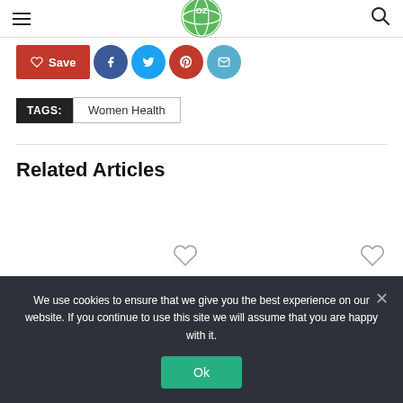Navigation header with hamburger menu, logo, and search icon
[Figure (other): Social sharing buttons: Save (red), Facebook (blue circle), Twitter (light blue circle), Pinterest (red circle), Email (light blue circle)]
TAGS: Women Health
Related Articles
[Figure (other): Related articles card area with two heart/save icons]
We use cookies to ensure that we give you the best experience on our website. If you continue to use this site we will assume that you are happy with it.